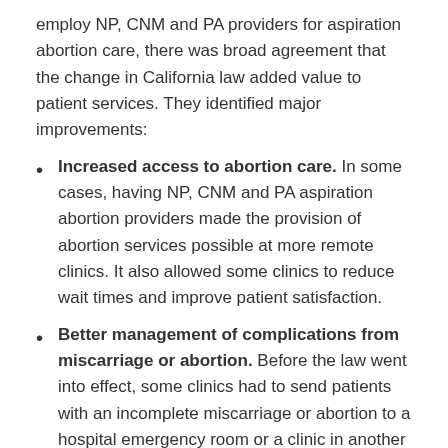employ NP, CNM and PA providers for aspiration abortion care, there was broad agreement that the change in California law added value to patient services. They identified major improvements:
Increased access to abortion care. In some cases, having NP, CNM and PA aspiration abortion providers made the provision of abortion services possible at more remote clinics. It also allowed some clinics to reduce wait times and improve patient satisfaction.
Better management of complications from miscarriage or abortion. Before the law went into effect, some clinics had to send patients with an incomplete miscarriage or abortion to a hospital emergency room or a clinic in another city. Now those patients are seen right away in the same clinic.
Improved skills and job satisfaction. NPs, CNMs, and PAs found that the skills they learned for aspiration abortion care transferred to other services like IUD